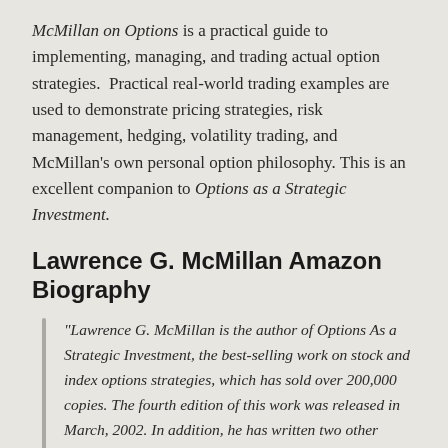McMillan on Options is a practical guide to implementing, managing, and trading actual option strategies. Practical real-world trading examples are used to demonstrate pricing strategies, risk management, hedging, volatility trading, and McMillan's own personal option philosophy. This is an excellent companion to Options as a Strategic Investment.
Lawrence G. McMillan Amazon Biography
"Lawrence G. McMillan is the author of Options As a Strategic Investment, the best-selling work on stock and index options strategies, which has sold over 200,000 copies. The fourth edition of this work was released in March, 2002. In addition, he has written two other books, McMillan On Options (2nd edition, 2004) and